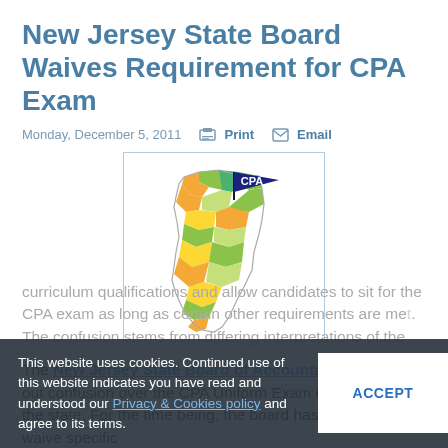New Jersey State Board Waives Requirement for CPA Exam
Monday, December 5, 2011   🖨 Print   ✉ Email
[Figure (illustration): Map of New Jersey state with counties shown in various colors (green, orange, yellow) and a navy blue pennant flag labeled 'CPA' stuck into the map]
The New Jersey State Board of Accountancy is sorting out confusion over the CPA Uniform Exam requirements in the state. For the time being, the board has agreed to waive specific curriculum qualifications and allow candidates to sit for the CPA exam as long as certain other requirements are met. The confusion stems from differing interpretations of the
This website uses cookies. Continued use of this website indicates you have read and understood our Privacy & Cookies policy and agree to its terms.